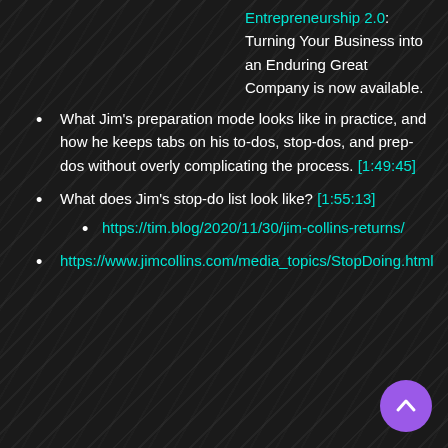Entrepreneurship 2.0: Turning Your Business into an Enduring Great Company is now available.
What Jim's preparation mode looks like in practice, and how he keeps tabs on his to-dos, stop-dos, and prep-dos without overly complicating the process. [1:49:45]
What does Jim's stop-do list look like? [1:55:13]
https://tim.blog/2020/11/30/jim-collins-returns/
https://www.jimcollins.com/media_topics/StopDoing.html